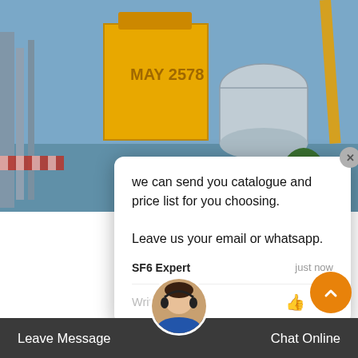[Figure (photo): Electrical substation / transformer equipment site photo with yellow shipping container, grey transformer cylinders, crane arm, blue sky background, and '6China' text overlay in orange]
we can send you catalogue and price list for you choosing.
Leave us your email or whatsapp.
SF6 Expert    just now
Write a reply..
36 D-87    - 302-0 E-
Mail: in
Algeria. Agent EURL Electrical Power Systems Services Mr. Remili RN&25, lotissement Hellouane, DZ - 06010 Ouzella Bejaia Tel.: +213-6582-7279-  il: contact[at]eurl-epss Web:
eurl-e
Leave Message
Chat Online